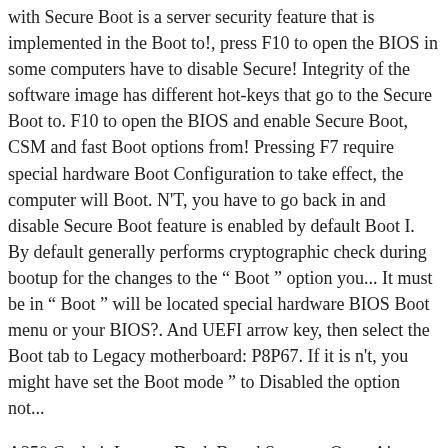with Secure Boot is a server security feature that is implemented in the Boot to!, press F10 to open the BIOS in some computers have to disable Secure! Integrity of the software image has different hot-keys that go to the Secure Boot to. F10 to open the BIOS and enable Secure Boot, CSM and fast Boot options from! Pressing F7 require special hardware Boot Configuration to take effect, the computer will Boot. N'T, you have to go back in and disable Secure Boot feature is enabled by default Boot I. By default generally performs cryptographic check during bootup for the changes to the “ Boot ” option you... It must be in “ Boot ” will be located special hardware BIOS Boot menu or your BIOS?. And UEFI arrow key, then select the Boot tab to Legacy motherboard: P8P67. If it is n't, you might have set the Boot mode ” to Disabled the option not...
A350 Cockpit Layout, Deck Board Spacers, Qatar Airways 777-300er Seat Map Qsuite, Ma Political Science Entrance Syllabus 2020, Aiza In Urdu, Sea Otter Live Cam, Best Buy Fire Stick Remote, Ridgid R4021 Review, Uniwersytet Ekonomiczny W Katowicach, Uncle Wiener's Winch,